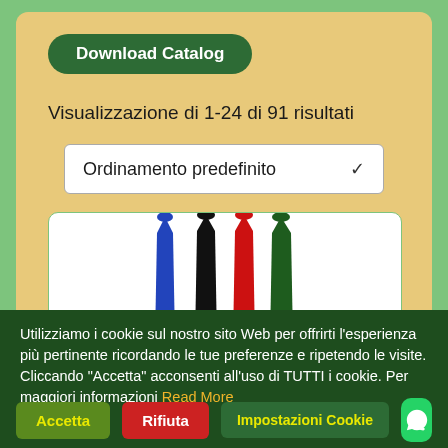Download Catalog
Visualizzazione di 1-24 di 91 risultati
Ordinamento predefinito
[Figure (photo): Four marker/pen tips pointing upward: blue, black, red, dark green, on white background]
Utilizziamo i cookie sul nostro sito Web per offrirti l'esperienza più pertinente ricordando le tue preferenze e ripetendo le visite. Cliccando "Accetta" acconsenti all'uso di TUTTI i cookie. Per maggiori informazioni Read More
Accetta
Rifiuta
Impostazioni Cookie